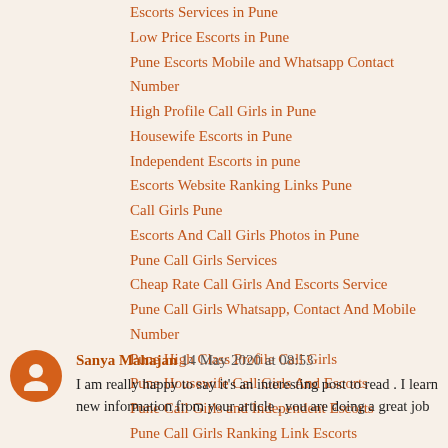Escorts Services in Pune
Low Price Escorts in Pune
Pune Escorts Mobile and Whatsapp Contact Number
High Profile Call Girls in Pune
Housewife Escorts in Pune
Independent Escorts in pune
Escorts Website Ranking Links Pune
Call Girls Pune
Escorts And Call Girls Photos in Pune
Pune Call Girls Services
Cheap Rate Call Girls And Escorts Service
Pune Call Girls Whatsapp, Contact And Mobile Number
Pune High Class Profile Call Girls
Pune Housewife Call Girls And Escorts
Pune Call Girls and Independent Escorts
Pune Call Girls Ranking Link Escorts
Reply
Sanya Mahajan  14 May 2020 at 08:53
I am really happy to say it's an interesting post to read . I learn new information from your article , you are doing a great job